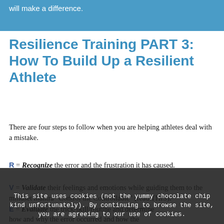will make a difference.
Resilience Training PART 3: How To Build Up a Resilient Athlete
There are four steps to follow when you are helping athletes deal with a mistake.
R = Recognize the error and the frustration it has caused.
V = Validate their feelings and emotions while guiding them to the mindset mantra "Control the Controllable" (read THIS).
E = Evaluate the trick/skill/routine and determine how and why the error occurred and how the